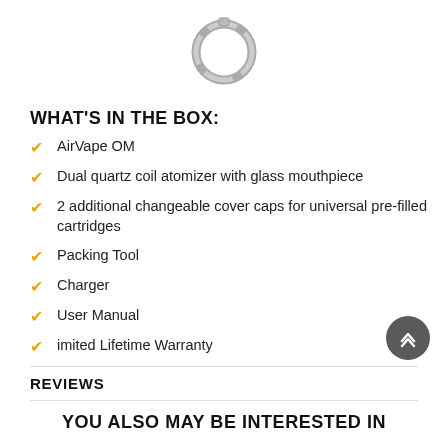[Figure (photo): Metal ring/coil component for vaping device, shown from above against white background]
WHAT'S IN THE BOX:
AirVape OM
Dual quartz coil atomizer with glass mouthpiece
2 additional changeable cover caps for universal pre-filled cartridges
Packing Tool
Charger
User Manual
imited Lifetime Warranty
REVIEWS
YOU ALSO MAY BE INTERESTED IN